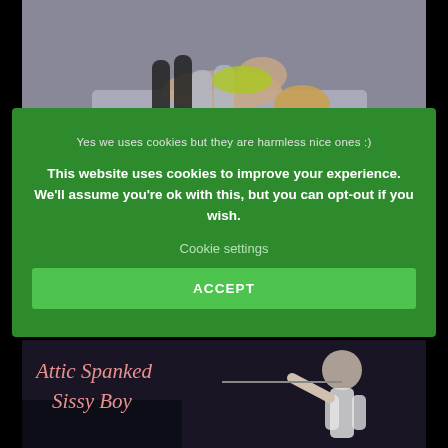[Figure (illustration): 3D rendered scene of animated characters near a couch/sofa in a living room setting]
Yes we uses cookies but they are harmless nice ones :)
This website uses cookies to improve your experience. We'll assume you're ok with this, but you can opt-out if you wish.
Cookie settings
ACCEPT
[Figure (illustration): 3D rendered game cover image showing characters with title 'Attic Spanked Sissy Boy']